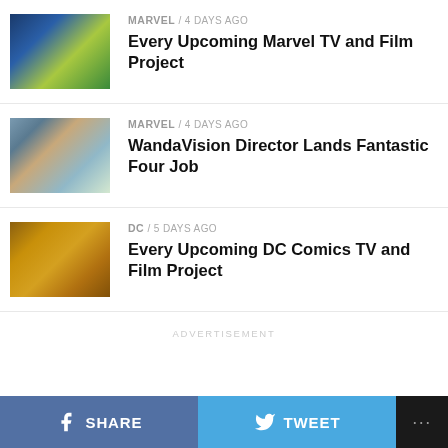[Figure (photo): Thumbnail image for Marvel article - green and blue tones suggesting superhero costume]
MARVEL / 4 days ago
Every Upcoming Marvel TV and Film Project
[Figure (photo): Thumbnail image for WandaVision article - woman in period dress, blue and green tones]
MARVEL / 4 days ago
WandaVision Director Lands Fantastic Four Job
[Figure (photo): Thumbnail image for DC article - bald man in armor, warm golden tones (Black Adam)]
DC / 5 days ago
Every Upcoming DC Comics TV and Film Project
ADVERTISEMENT
SHARE   TWEET   ...